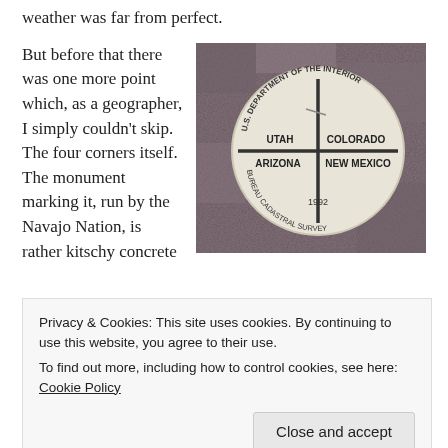weather was far from perfect.
But before that there was one more point which, as a geographer, I simply couldn't skip. The four corners itself. The monument marking it, run by the Navajo Nation, is rather kitschy concrete
[Figure (photo): Photo of the Four Corners monument marker showing a circular bronze/metal disc embedded in granite/stone, with a cross dividing it into four quadrants labeled UTAH, COLORADO, ARIZONA, NEW MEXICO, with text reading U.S. DEPARTMENT OF THE INTERIOR around the top and BUREAU CADASTRAL SURVEY MANAGEMENT around the bottom, with 1992 date.]
Privacy & Cookies: This site uses cookies. By continuing to use this website, you agree to their use.
To find out more, including how to control cookies, see here: Cookie Policy
Close and accept
...the official BLM...